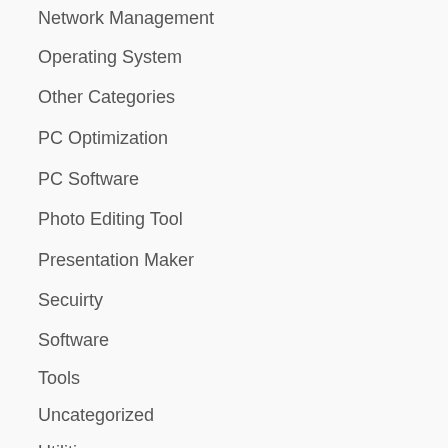Network Management
Operating System
Other Categories
PC Optimization
PC Software
Photo Editing Tool
Presentation Maker
Secuirty
Software
Tools
Uncategorized
Utilities